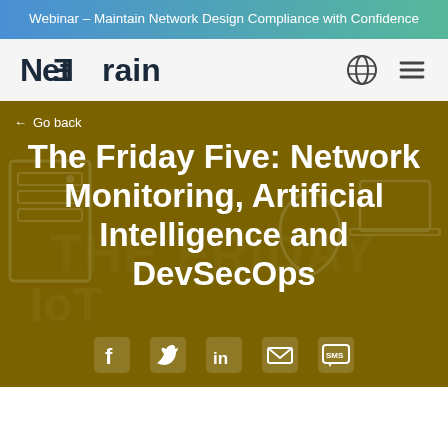Webinar – Maintain Network Design Compliance with Confidence
[Figure (logo): NetBrain logo — stylized text logo with 'Net' and '3rain' forming 'NetBrain' in dark navy]
The Friday Five: Network Monitoring, Artificial Intelligence and DevSecOps
← Go back
[Figure (infographic): Social sharing icons: Facebook, Twitter, LinkedIn, Email, SMS]